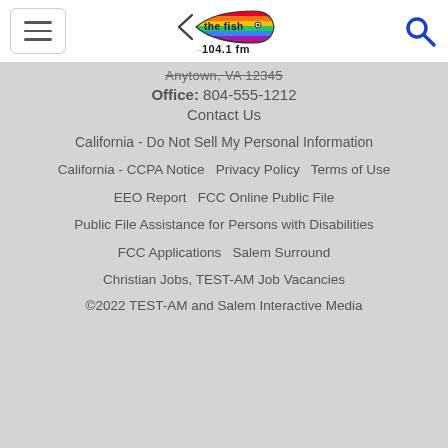[Figure (logo): The Fish 104.1 FM radio station logo with colorful fish graphic]
Anytown, VA 12345
Office: 804-555-1212
Contact Us
California - Do Not Sell My Personal Information
California - CCPA Notice   Privacy Policy   Terms of Use
EEO Report   FCC Online Public File
Public File Assistance for Persons with Disabilities
FCC Applications   Salem Surround
Christian Jobs, TEST-AM Job Vacancies
©2022 TEST-AM and Salem Interactive Media